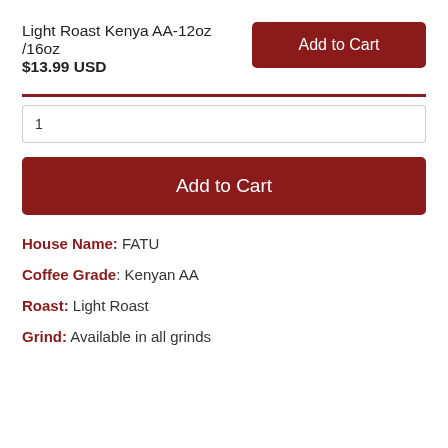Light Roast Kenya AA-12oz /16oz
$13.99 USD
Add to Cart
1
Add to Cart
House Name: FATU
Coffee Grade: Kenyan AA
Roast: Light Roast
Grind: Available in all grinds